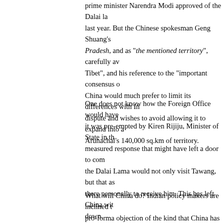prime minister Narendra Modi approved of the Dalai la last year. But the Chinese spokesman Geng Shuang's Pradesh, and as "the mentioned territory", carefully av Tibet", and his reference to the "important consensus China would much prefer to limit its differences with In dispute and wishes to avoid allowing it to expand into Arunachal's 140,000 sq.km of territory.
One does not know how the Foreign Office would have it was pre-empted by Kiren Rijiju, Minister of State in measured response that might have left a door to com the Dalai Lama would not only visit Tawang, but that a there personally to receive him. This has left China wit down.
What will China do? Indian policy makers are inclined pro-forma objection of the kind that China has made e visits Arunachal, or the Dalai Lama has met the prime issue open till a formal agreement is reached. And had proved right.
On that occasion too, a request by the Dalai Lama in hospital in November, had set off a flurry of objections Delhi that rapidly escalated into a war of words and tu international test of sovereignty. Another war in the H possibility when Chinese Premier Wen Jiabao took the